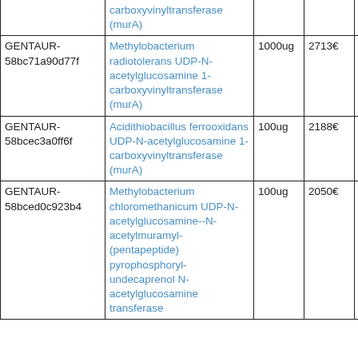| ID | Name | Qty | Price | Supplier | Link |
| --- | --- | --- | --- | --- | --- |
|  | carboxyvinyltransferase (murA) |  |  |  |  |
| GENTAUR-58bc71a90d77f | Methylobacterium radiotolerans UDP-N-acetylglucosamine 1-carboxyvinyltransferase (murA) | 1000ug | 2713€ | MBS Recombinant Proteins | hu... |
| GENTAUR-58bcec3a0ff6f | Acidithiobacillus ferrooxidans UDP-N-acetylglucosamine 1-carboxyvinyltransferase (murA) | 100ug | 2188€ | MBS Recombinant Proteins | hu... |
| GENTAUR-58bced0c923b4 | Methylobacterium chloromethanicum UDP-N-acetylglucosamine--N-acetylmuramyl-(pentapeptide) pyrophosphoryl-undecaprenol N-acetylglucosamine transferase | 100ug | 2050€ | MBS Recombinant Proteins | hu... |